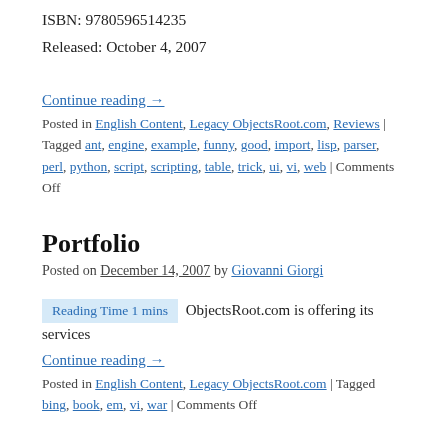ISBN: 9780596514235
Released: October 4, 2007
Continue reading →
Posted in English Content, Legacy ObjectsRoot.com, Reviews | Tagged ant, engine, example, funny, good, import, lisp, parser, perl, python, script, scripting, table, trick, ui, vi, web | Comments Off
Portfolio
Posted on December 14, 2007 by Giovanni Giorgi
Reading Time 1 mins  ObjectsRoot.com is offering its services
Continue reading →
Posted in English Content, Legacy ObjectsRoot.com | Tagged bing, book, em, vi, war | Comments Off
← Older posts